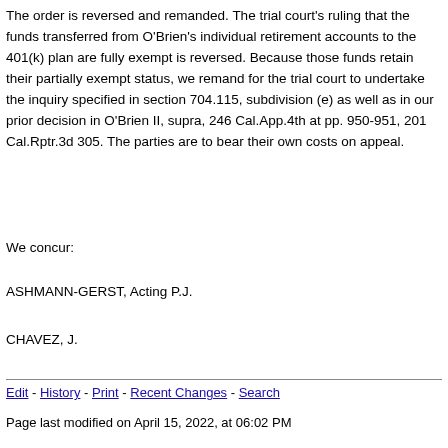The order is reversed and remanded. The trial court's ruling that the funds transferred from O'Brien's individual retirement accounts to the 401(k) plan are fully exempt is reversed. Because those funds retain their partially exempt status, we remand for the trial court to undertake the inquiry specified in section 704.115, subdivision (e) as well as in our prior decision in O'Brien II, supra, 246 Cal.App.4th at pp. 950-951, 201 Cal.Rptr.3d 305. The parties are to bear their own costs on appeal.
We concur:
ASHMANN-GERST, Acting P.J.
CHAVEZ, J.
Edit - History - Print - Recent Changes - Search
Page last modified on April 15, 2022, at 06:02 PM